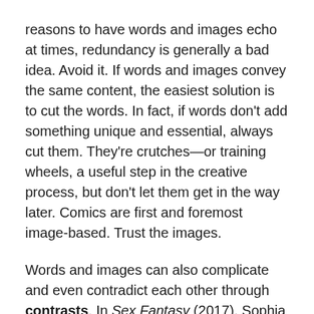reasons to have words and images echo at times, redundancy is generally a bad idea. Avoid it. If words and images convey the same content, the easiest solution is to cut the words. In fact, if words don't add something unique and essential, always cut them. They're crutches—or training wheels, a useful step in the creative process, but don't let them get in the way later. Comics are first and foremost image-based. Trust the images.
Words and images can also complicate and even contradict each other through contrasts. In Sex Fantasy (2017), Sophia Foster-Dimino draws the words "I water the plants" beside a figure in a space suit and jet pack hovering above a row of various plants as she waters them from a device attached by a hose to her suit. While the image doesn't contradict the words, it doesn't match